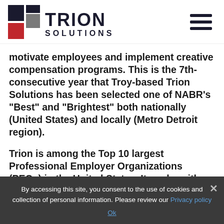[Figure (logo): Trion Solutions logo with geometric squares in red, dark grey, and black, and bold text 'TRION SOLUTIONS']
motivate employees and implement creative compensation programs. This is the 7th-consecutive year that Troy-based Trion Solutions has been selected one of NABR's “Best” and “Brightest” both nationally (United States) and locally (Metro Detroit region).
Trion is among the Top 10 largest Professional Employer Organizations (PEOs) in the United States. It works with more than
By accessing this site, you consent to the use of cookies and collection of personal information. Please review our Privacy policy
Ok